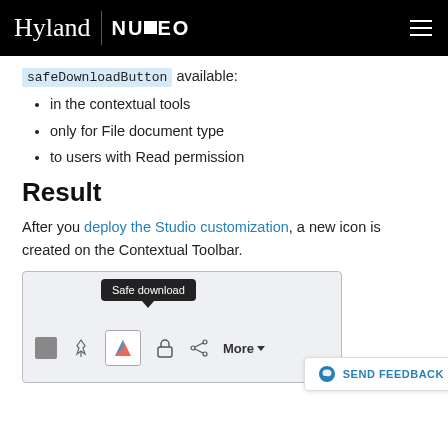Hyland | NUXEO
safeDownloadButton available:
in the contextual tools
only for File document type
to users with Read permission
Result
After you deploy the Studio customization, a new icon is created on the Contextual Toolbar.
[Figure (screenshot): Screenshot of Nuxeo contextual toolbar showing a 'Safe download' tooltip above an icon button, with toolbar icons including a square, pin, colored action icon, lock, share, and More dropdown.]